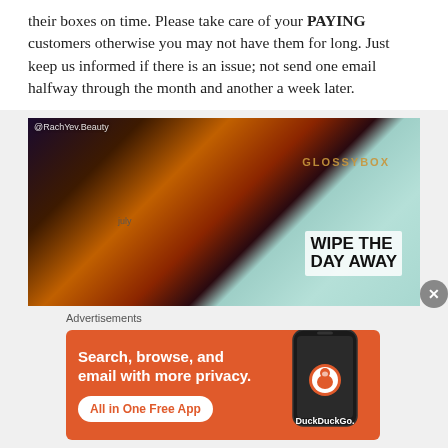their boxes on time. Please take care of your PAYING customers otherwise you may not have them for long. Just keep us informed if there is an issue; not send one email halfway through the month and another a week later.
[Figure (photo): Photo of beauty subscription box products including a GLOSSYBOX teal box with seashells and starfish, various beauty products, a pink lip balm tube, a July planner/notebook, a Wipe The Day Away product box, and other cosmetic items arranged on a surface. Watermark reads @RachYev.Beauty]
Advertisements
[Figure (screenshot): DuckDuckGo advertisement banner with orange background. Left side shows bold white text: 'Search, browse, and email with more privacy.' with a white pill button reading 'All in One Free App'. Right side shows a dark phone mockup with DuckDuckGo logo (duck icon in orange circle) and 'DuckDuckGo.' text.]